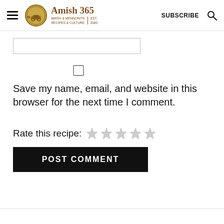Amish 365 — AMISH & MENNONITE RECIPES & CULTURE | EST. 2000 | SUBSCRIBE
[Figure (other): Text input field (partially visible, cut off at top)]
[Figure (other): Checkbox (unchecked)]
Save my name, email, and website in this browser for the next time I comment.
Rate this recipe: ☆☆☆☆☆
POST COMMENT